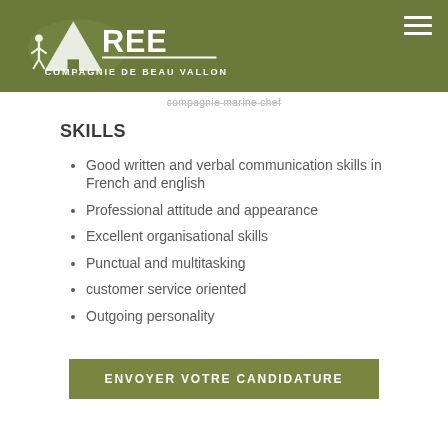REE COMPAGNIE DE BEAU VALLON LTÉE
compagnie marine chef
SKILLS
Good written and verbal communication skills in French and english
Professional attitude and appearance
Excellent organisational skills
Punctual and multitasking
customer service oriented
Outgoing personality
ENVOYER VOTRE CANDIDATURE